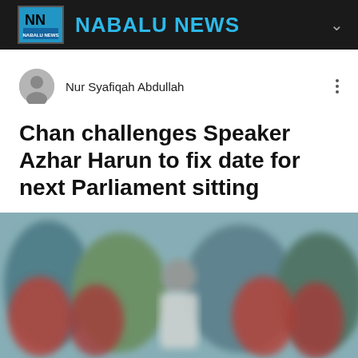NABALU NEWS
Nur Syafiqah Abdullah
Chan challenges Speaker Azhar Harun to fix date for next Parliament sitting
Updated: Aug 5, 2021
[Figure (photo): Blurred outdoor photo of a person wearing a white shirt surrounded by people in red shirts/vests, appears to be at a political or public event]